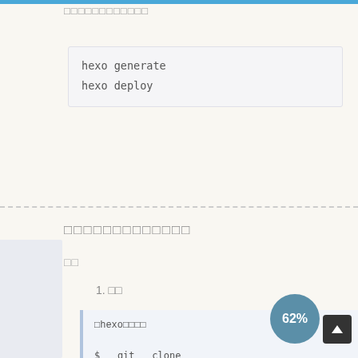□□□□□□□□□□□□
hexo generate
hexo deploy
□□□□□□□□□□□□□
□□
1. □□
□hexo□□□□
$ git clone https://github.com/litten/he...
theme-yilia.git themes/yilia